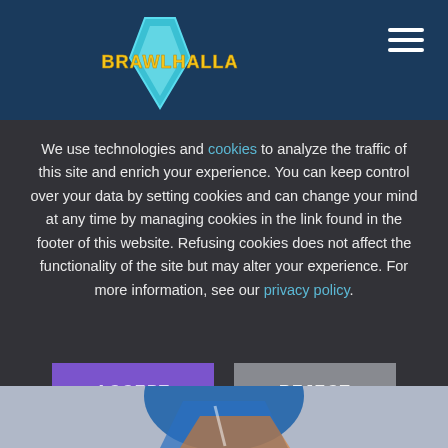[Figure (logo): Brawlhalla game logo with blue gem/diamond icon and stylized yellow text on dark blue header bar]
We use technologies and cookies to analyze the traffic of this site and enrich your experience. You can keep control over your data by setting cookies and can change your mind at any time by managing cookies in the link found in the footer of this website. Refusing cookies does not affect the functionality of the site but may alter your experience. For more information, see our privacy policy.
[Figure (illustration): Partial view of a Brawlhalla animated character in blue and orange suit, bottom of page]